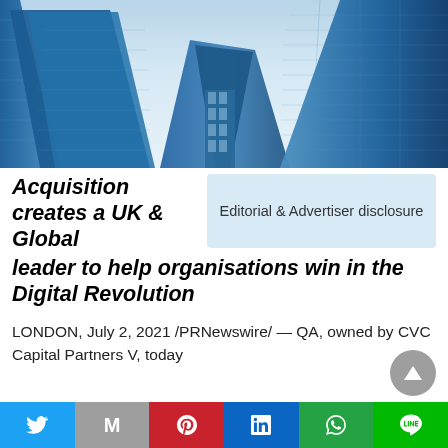[Figure (photo): Upward view of modern glass skyscrapers against a blue sky, creating a dramatic architectural perspective with blue glass panels and steel frames.]
Acquisition creates a UK & Global leader to help organisations win in the Digital Revolution
Editorial & Advertiser disclosure
LONDON, July 2, 2021 /PRNewswire/ — QA, owned by CVC Capital Partners V, today